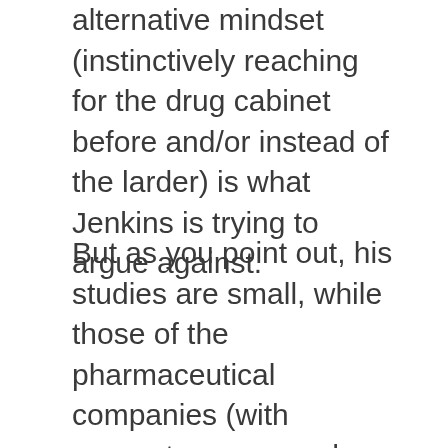alternative mindset (instinctively reaching for the drug cabinet before and/or instead of the larder) is what Jenkins is trying to argue against.
But as you point out, his studies are small, while those of the pharmaceutical companies (with gargantuan research budgets and billions of dollars of revenue at stake) are large and currently far more persuasive.
I guess more (dietary) research is needed.
3. “Heck, if dietary approaches